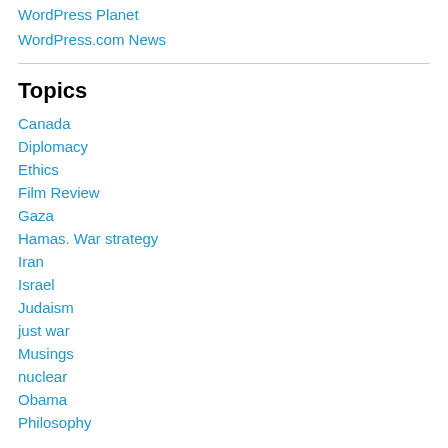WordPress Planet
WordPress.com News
Topics
Canada
Diplomacy
Ethics
Film Review
Gaza
Hamas. War strategy
Iran
Israel
Judaism
just war
Musings
nuclear
Obama
Philosophy